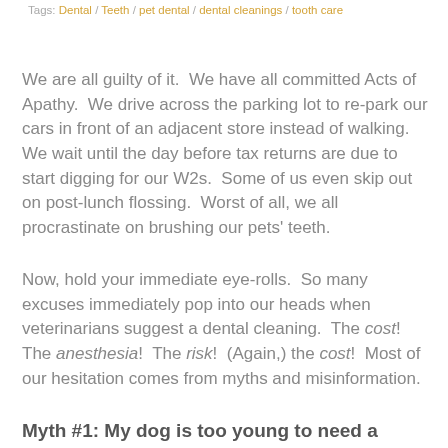Tags: Dental / Teeth / pet dental / dental cleanings / tooth care
We are all guilty of it.  We have all committed Acts of Apathy.  We drive across the parking lot to re-park our cars in front of an adjacent store instead of walking.  We wait until the day before tax returns are due to start digging for our W2s.  Some of us even skip out on post-lunch flossing.  Worst of all, we all procrastinate on brushing our pets' teeth.
Now, hold your immediate eye-rolls.  So many excuses immediately pop into our heads when veterinarians suggest a dental cleaning.  The cost!  The anesthesia!  The risk!  (Again,) the cost!  Most of our hesitation comes from myths and misinformation.
Myth #1: My dog is too young to need a dental